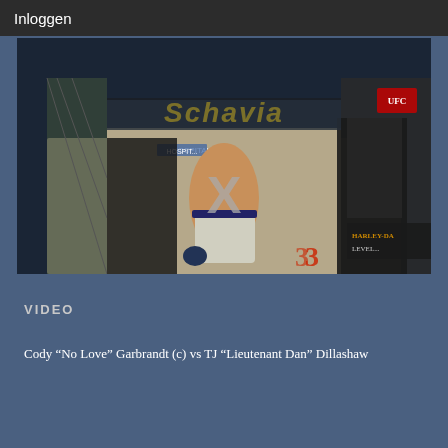Inloggen
[Figure (screenshot): UFC fight video thumbnail showing a fighter's back with an X overlay, inside the octagon cage. Schavia logo in yellow at top, MetroPCS branding visible. Harley Davidson signage in lower right.]
VIDEO
Cody “No Love” Garbrandt (c) vs TJ “Lieutenant Dan” Dillashaw